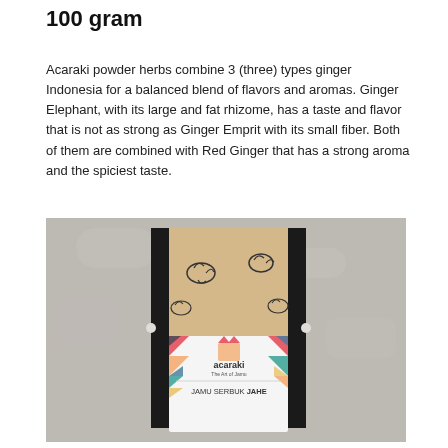100 gram
Acaraki powder herbs combine 3 (three) types ginger Indonesia for a balanced blend of flavors and aromas. Ginger Elephant, with its large and fat rhizome, has a taste and flavor that is not as strong as Ginger Emprit with its small fiber. Both of them are combined with Red Ginger that has a strong aroma and the spiciest taste.
[Figure (photo): Photo of an Acaraki branded jamu serbuk jahe (ginger powder) product bag. The pouch has a kraft paper top with ginger root illustrations and black handles. The front label shows the acaraki logo with colorful geometric triangles and text reading 'JAMU SERBUK JAHE'.]